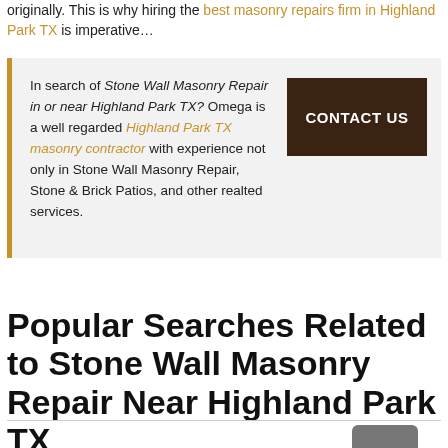originally. This is why hiring the best masonry repairs firm in Highland Park TX is imperative…
In search of Stone Wall Masonry Repair in or near Highland Park TX? Omega is a well regarded Highland Park TX masonry contractor with experience not only in Stone Wall Masonry Repair, Stone & Brick Patios, and other realted services.
Popular Searches Related to Stone Wall Masonry Repair Near Highland Park TX